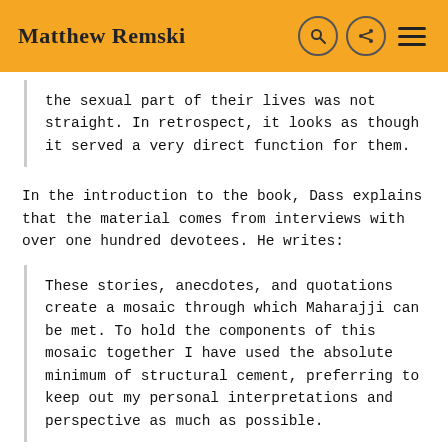Matthew Remski
the sexual part of their lives was not straight. In retrospect, it looks as though it served a very direct function for them.
In the introduction to the book, Dass explains that the material comes from interviews with over one hundred devotees. He writes:
These stories, anecdotes, and quotations create a mosaic through which Maharajji can be met. To hold the components of this mosaic together I have used the absolute minimum of structural cement, preferring to keep out my personal interpretations and perspective as much as possible.